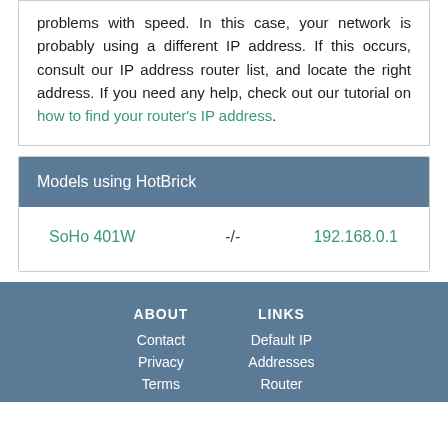problems with speed. In this case, your network is probably using a different IP address. If this occurs, consult our IP address router list, and locate the right address. If you need any help, check out our tutorial on how to find your router's IP address.
| Model |  | IP Address |
| --- | --- | --- |
| SoHo 401W | -/- | 192.168.0.1 |
ABOUT  LINKS
Contact  Default IP
Privacy  Addresses
Terms  Router